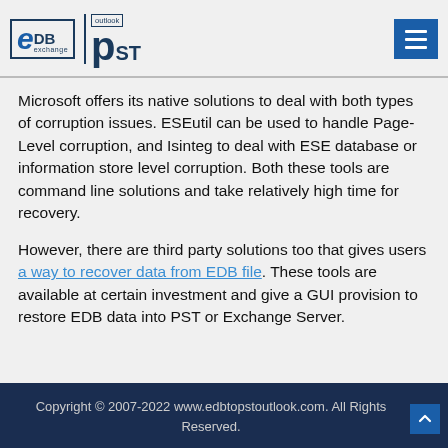eDB exchange | outlook PST
Microsoft offers its native solutions to deal with both types of corruption issues. ESEutil can be used to handle Page-Level corruption, and Isinteg to deal with ESE database or information store level corruption. Both these tools are command line solutions and take relatively high time for recovery.
However, there are third party solutions too that gives users a way to recover data from EDB file. These tools are available at certain investment and give a GUI provision to restore EDB data into PST or Exchange Server.
Copyright © 2007-2022 www.edbtopstoutlook.com. All Rights Reserved.